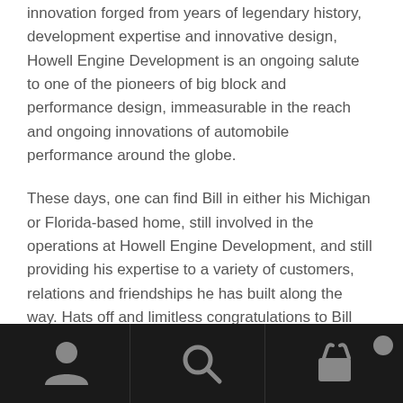innovation forged from years of legendary history, development expertise and innovative design, Howell Engine Development is an ongoing salute to one of the pioneers of big block and performance design, immeasurable in the reach and ongoing innovations of automobile performance around the globe.
These days, one can find Bill in either his Michigan or Florida-based home, still involved in the operations at Howell Engine Development, and still providing his expertise to a variety of customers, relations and friendships he has built along the way. Hats off and limitless congratulations to Bill Howell and his son Matt for carrying on the legacy!
Navigation bar with person, search, and cart icons